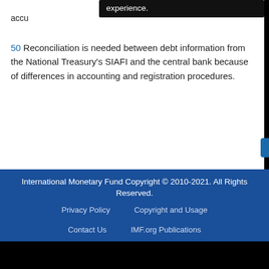accu
experience.
50 Reconciliation is needed between debt information from the National Treasury's SIAFI and the central bank because of differences in accounting and registration procedures.
International Monetary Fund Copyright © 2010-2021. All Rights Reserved.
Privacy Policy    Copyright and Usage
Contact Us    IMF.org Publications